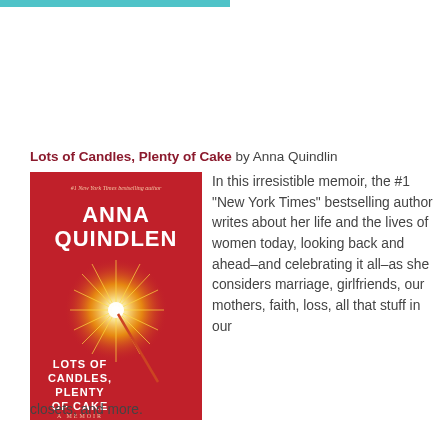[Figure (illustration): Cyan/teal horizontal bar at the top left of the page]
Lots of Candles, Plenty of Cake by Anna Quindlin
[Figure (photo): Book cover of 'Lots of Candles, Plenty of Cake' by Anna Quindlen. Red background with a sparkler image. Text: #1 New York Times bestselling author. ANNA QUINDLEN. LOTS OF CANDLES, PLENTY OF CAKE. A MEMOIR.]
In this irresistible memoir, the #1 "New York Times" bestselling author writes about her life and the lives of women today, looking back and ahead–and celebrating it all–as she considers marriage, girlfriends, our mothers, faith, loss, all that stuff in our closets, and more.